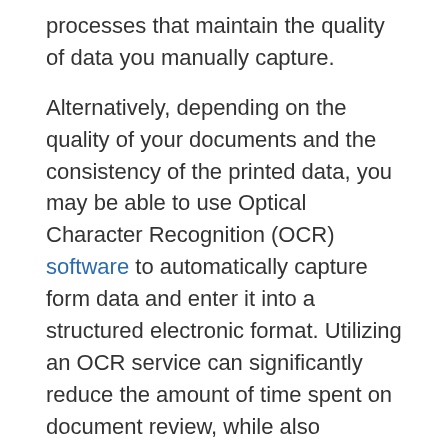processes that maintain the quality of data you manually capture.
Alternatively, depending on the quality of your documents and the consistency of the printed data, you may be able to use Optical Character Recognition (OCR) software to automatically capture form data and enter it into a structured electronic format. Utilizing an OCR service can significantly reduce the amount of time spent on document review, while also providing the ability to search and analyze form-based data.
How do I analyze my structured data collection?
After you collect your data and examine it for gaps, what's next? If your data originates from multiple sources, your next step is to validate its comprehensiveness and accuracy. An experienced data analyst can help you determine whether your collection includes duplicate,